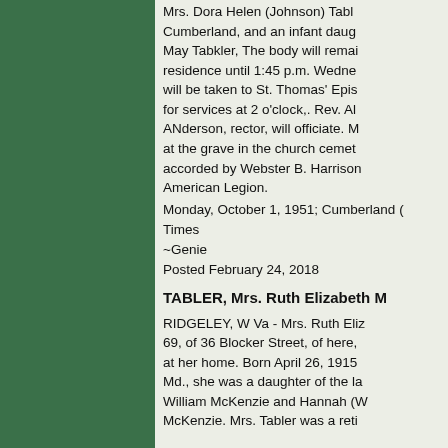Mrs. Dora Helen (Johnson) Tab... Cumberland, and an infant daug... May Tabkler, The body will remai... residence until 1:45 p.m. Wedne... will be taken to St. Thomas' Epis... for services at 2 o'clock,. Rev. Al... ANderson, rector, will officiate. M... at the grave in the church cemet... accorded by Webster B. Harrison... American Legion.
Monday, October 1, 1951; Cumberland (...
Times
~Genie
Posted February 24, 2018
TABLER, Mrs. Ruth Elizabeth M...
RIDGELEY, W Va - Mrs. Ruth Eliz... 69, of 36 Blocker Street, of here,... at her home. Born April 26, 1915... Md., she was a daughter of the la... William McKenzie and Hannah (W... McKenzie. Mrs. Tabler was a reti...